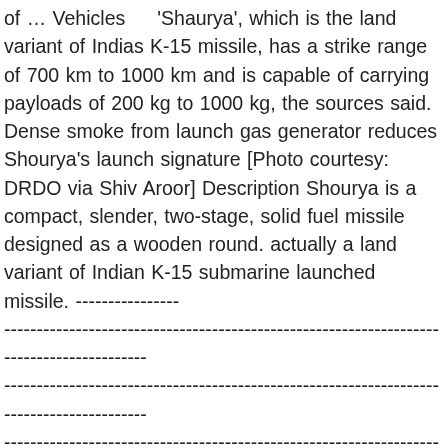of … Vehicles    'Shaurya', which is the land variant of Indias K-15 missile, has a strike range of 700 km to 1000 km and is capable of carrying payloads of 200 kg to 1000 kg, the sources said. Dense smoke from launch gas generator reduces Shourya's launch signature [Photo courtesy: DRDO via Shiv Aroor] Description Shourya is a compact, slender, two-stage, solid fuel missile designed as a wooden round. actually a land variant of Indian K-15 submarine launched missile. --------------------------------------------------------------------------------------------------------------------------------------------------------------------------------------------------------------------------------------------------------. It can carry *Yu-71 – a similar Russian test vehicle during the re-entry stage. *Prompt Global Strike during the atmospheric re-entry. Shaurya är en så kallad MRBM (Medium Range Ballistic